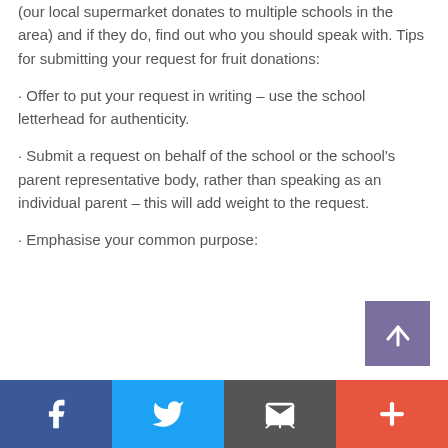(our local supermarket donates to multiple schools in the area) and if they do, find out who you should speak with. Tips for submitting your request for fruit donations:
· Offer to put your request in writing – use the school letterhead for authenticity.
· Submit a request on behalf of the school or the school's parent representative body, rather than speaking as an individual parent – this will add weight to the request.
· Emphasise your common purpose:
[Figure (infographic): Purple square button with white upward arrow icon (scroll to top button)]
Social share bar with Facebook, Twitter, email, and add buttons